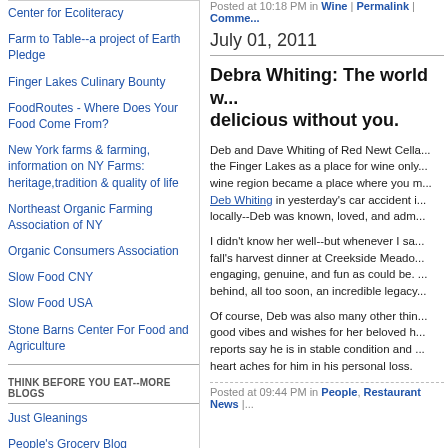Center for Ecoliteracy
Farm to Table--a project of Earth Pledge
Finger Lakes Culinary Bounty
FoodRoutes - Where Does Your Food Come From?
New York farms & farming, information on NY Farms: heritage,tradition & quality of life
Northeast Organic Farming Association of NY
Organic Consumers Association
Slow Food CNY
Slow Food USA
Stone Barns Center For Food and Agriculture
THINK BEFORE YOU EAT--MORE BLOGS
Just Gleanings
People's Grocery Blog
Posted at 10:18 PM in Wine | Permalink | Comme...
July 01, 2011
Debra Whiting: The world w... delicious without you.
Deb and Dave Whiting of Red Newt Cella... the Finger Lakes as a place for wine only... wine region became a place where you m... Deb Whiting in yesterday's car accident i... locally--Deb was known, loved, and adm...
I didn't know her well--but whenever I sa... fall's harvest dinner at Creekside Meado... engaging, genuine, and fun as could be.... behind, all too soon, an incredible legacy...
Of course, Deb was also many other thin... good vibes and wishes for her beloved h... reports say he is in stable condition and... heart aches for him in his personal loss.
Posted at 09:44 PM in People, Restaurant News |...